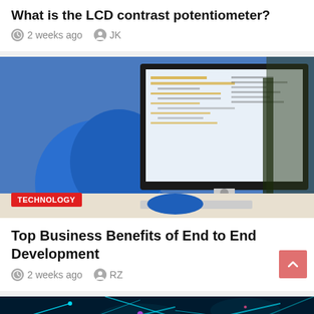What is the LCD contrast potentiometer?
2 weeks ago   JK
[Figure (photo): Person in blue hoodie working at an Apple iMac showing code editor]
TECHNOLOGY
Top Business Benefits of End to End Development
2 weeks ago   RZ
[Figure (photo): Abstract glowing network of blue and teal light beams and particles]